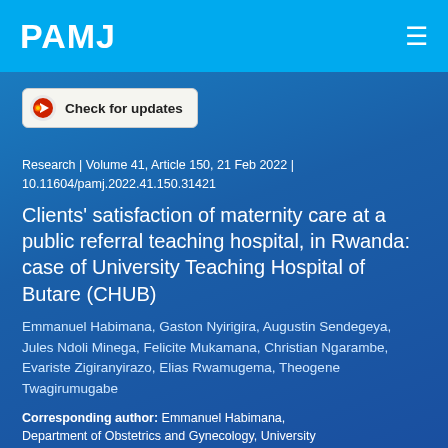PAMJ
[Figure (other): Check for updates badge button with circular icon]
Research | Volume 41, Article 150, 21 Feb 2022 | 10.11604/pamj.2022.41.150.31421
Clients' satisfaction of maternity care at a public referral teaching hospital, in Rwanda: case of University Teaching Hospital of Butare (CHUB)
Emmanuel Habimana, Gaston Nyirigira, Augustin Sendegeya, Jules Ndoli Minega, Felicite Mukamana, Christian Ngarambe, Evariste Zigiranyirazo, Elias Rwamugema, Theogene Twagirumugabe
Corresponding author: Emmanuel Habimana, Department of Obstetrics and Gynecology, University